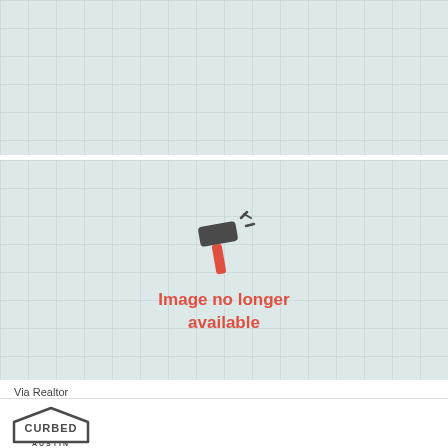[Figure (other): Placeholder image with grid pattern background (image no longer available) - top image]
[Figure (other): Placeholder image with grid pattern background, broken hammer icon, and text 'Image no longer available']
Via Realtor
[Figure (logo): Curbed Austin logo - house outline shape with text CURBED inside and AUSTIN below]